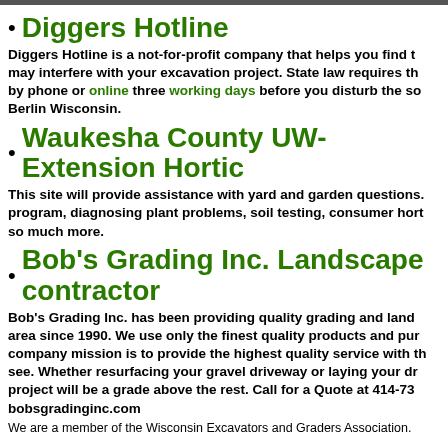Diggers Hotline
Diggers Hotline is a not-for-profit company that helps you find things that may interfere with your excavation project. State law requires that you call by phone or online three working days before you disturb the so... Berlin Wisconsin.
Waukesha County UW-Extension Hortic...
This site will provide assistance with yard and garden questions... program, diagnosing plant problems, soil testing, consumer hort... so much more.
Bob's Grading Inc. Landscape contractor...
Bob's Grading Inc. has been providing quality grading and land... area since 1990. We use only the finest quality products and pur... company mission is to provide the highest quality service with th... see. Whether resurfacing your gravel driveway or laying your dr... project will be a grade above the rest. Call for a Quote at 414-73... bobsgradinginc.com
We are a member of the Wisconsin Excavators and Graders Association.
Grading
Landscaping
3D Design
Pergolas